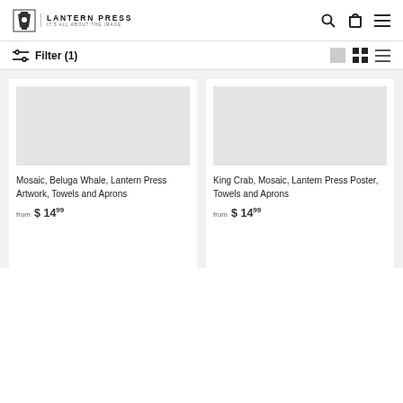LANTERN PRESS - IT'S ALL ABOUT THE IMAGE.
Filter (1)
Mosaic, Beluga Whale, Lantern Press Artwork, Towels and Aprons
from $ 14.99
King Crab, Mosaic, Lantern Press Poster, Towels and Aprons
from $ 14.99